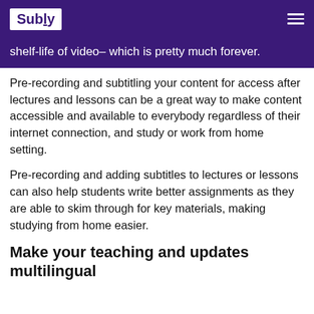Subly
shelf-life of video– which is pretty much forever.
Pre-recording and subtitling your content for access after lectures and lessons can be a great way to make content accessible and available to everybody regardless of their internet connection, and study or work from home setting.
Pre-recording and adding subtitles to lectures or lessons can also help students write better assignments as they are able to skim through for key materials, making studying from home easier.
Make your teaching and updates multilingual